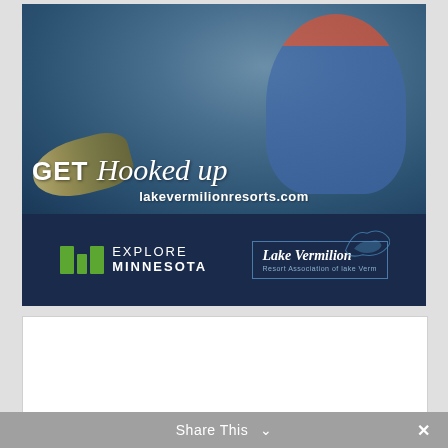[Figure (photo): Fishing advertisement showing a man in a blue jacket holding a large walleye fish on a lake, with text overlay 'GET Hooked up' and 'lakevermilionresorts.com'. Below the photo is a dark navy logo bar with Explore Minnesota and Lake Vermilion Resort logos.]
[Figure (photo): White empty rectangle below the advertisement.]
Share This ∨ ✕